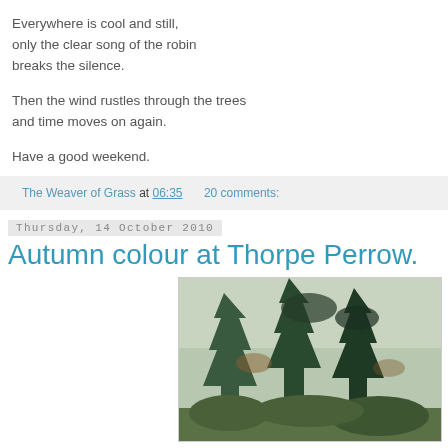Everywhere is cool and still,
only the clear song of the robin
breaks the silence.
Then the wind rustles through the trees
and time moves on again.
Have a good weekend.
The Weaver of Grass at 06:35    20 comments:
Thursday, 14 October 2010
Autumn colour at Thorpe Perrow.
[Figure (photo): Photograph of trees with autumn foliage at Thorpe Perrow arboretum, showing conifers and deciduous trees against a pale sky.]